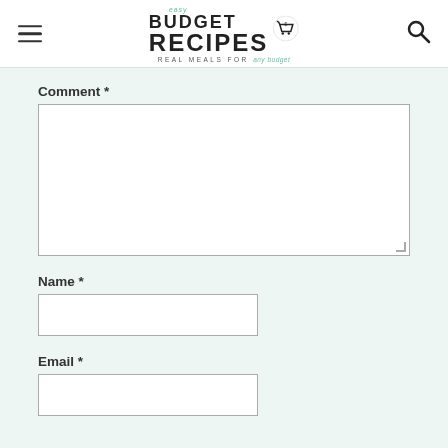Easy Budget Recipes - Real Meals for any budget
Comment *
Name *
Email *